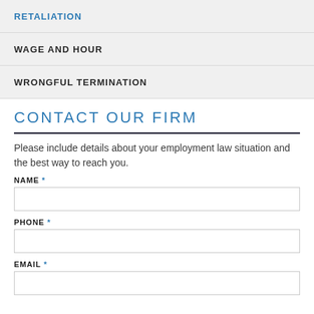RETALIATION
WAGE AND HOUR
WRONGFUL TERMINATION
CONTACT OUR FIRM
Please include details about your employment law situation and the best way to reach you.
NAME *
PHONE *
EMAIL *